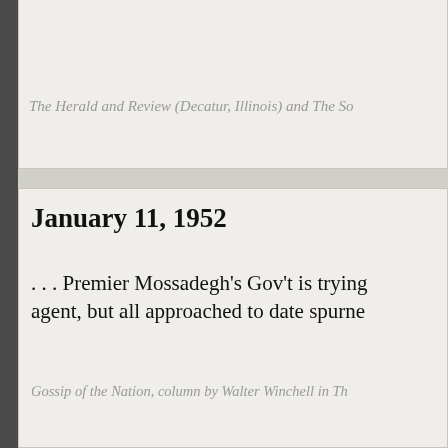The Herald and Review (Decatur, Illinois) and The So…
January 11, 1952
. . . Premier Mossadegh's Gov't is trying to find a sales agent, but all approached to date spurne…
Gossip of the Nation, column by Walter Winchell in Th…
February 11, 1952
Doc Mossadegh has nothing to prescrib…